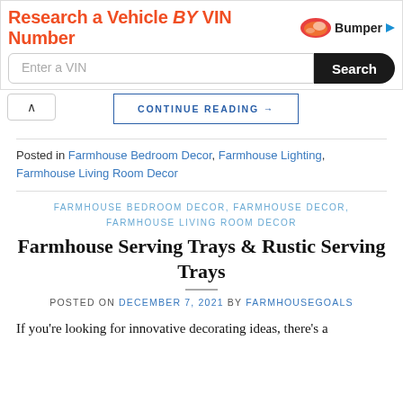[Figure (other): Advertisement banner: 'Research a Vehicle BY VIN Number' with Bumper logo, VIN input field, and Search button]
CONTINUE READING →
Posted in Farmhouse Bedroom Decor, Farmhouse Lighting, Farmhouse Living Room Decor
FARMHOUSE BEDROOM DECOR, FARMHOUSE DECOR, FARMHOUSE LIVING ROOM DECOR
Farmhouse Serving Trays & Rustic Serving Trays
POSTED ON DECEMBER 7, 2021 BY FARMHOUSEGOALS
If you're looking for innovative decorating ideas, there's a